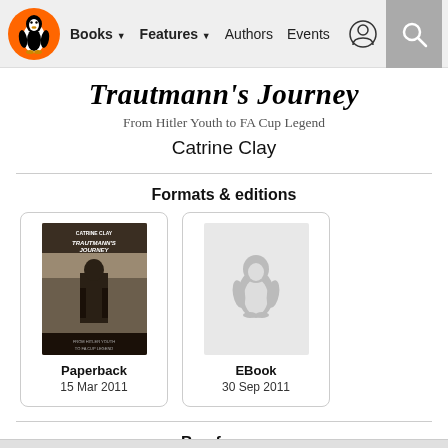Books | Features | Authors | Events
Trautmann's Journey
From Hitler Youth to FA Cup Legend
Catrine Clay
Formats & editions
Paperback
15 Mar 2011
EBook
30 Sep 2011
Buy from…